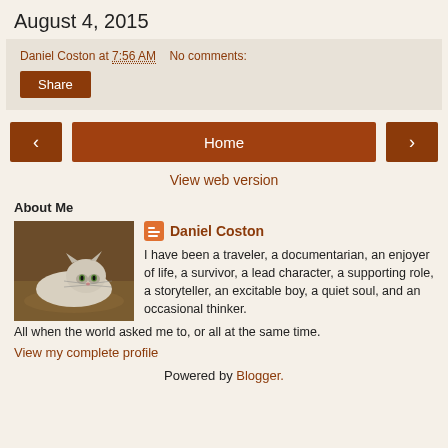August 4, 2015
Daniel Coston at 7:56 AM   No comments:
Share
[Figure (other): Navigation row with left arrow button, Home button, and right arrow button]
View web version
About Me
[Figure (photo): Profile photo of a cat lying on a wooden floor]
Daniel Coston
I have been a traveler, a documentarian, an enjoyer of life, a survivor, a lead character, a supporting role, a storyteller, an excitable boy, a quiet soul, and an occasional thinker. All when the world asked me to, or all at the same time.
View my complete profile
Powered by Blogger.